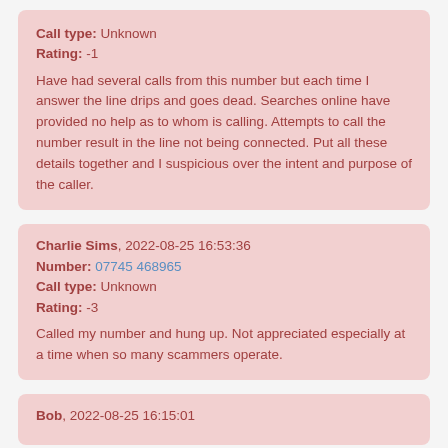Call type: Unknown
Rating: -1
Have had several calls from this number but each time I answer the line drips and goes dead. Searches online have provided no help as to whom is calling. Attempts to call the number result in the line not being connected. Put all these details together and I suspicious over the intent and purpose of the caller.
Charlie Sims, 2022-08-25 16:53:36
Number: 07745 468965
Call type: Unknown
Rating: -3
Called my number and hung up. Not appreciated especially at a time when so many scammers operate.
Bob, 2022-08-25 16:15:01